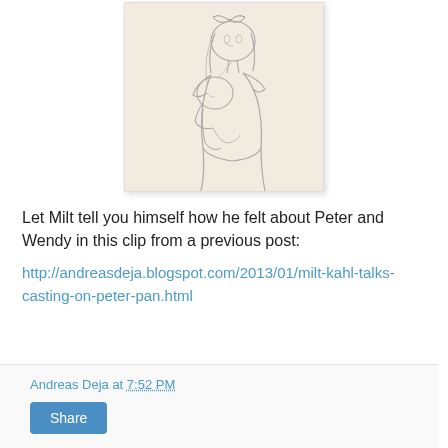[Figure (illustration): Pencil sketch illustration of a girl (Wendy) with a hair bow, wearing a dress, holding and cradling a smaller child or baby figure. The sketch is on a cream/beige background with light pencil lines.]
Let Milt tell you himself how he felt about Peter and Wendy in this clip from a previous post:
http://andreasdeja.blogspot.com/2013/01/milt-kahl-talks-casting-on-peter-pan.html
Andreas Deja at 7:52 PM
Share